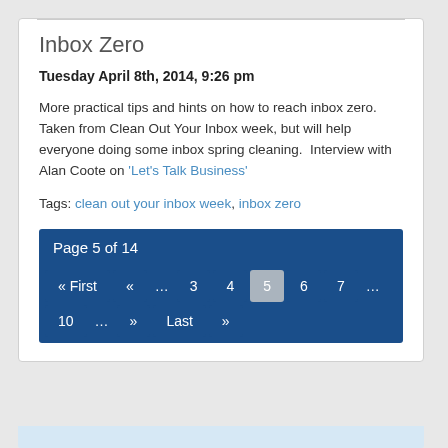Inbox Zero
Tuesday April 8th, 2014, 9:26 pm
More practical tips and hints on how to reach inbox zero. Taken from Clean Out Your Inbox week, but will help everyone doing some inbox spring cleaning.  Interview with Alan Coote on ‘Let’s Talk Business’
Tags: clean out your inbox week, inbox zero
Page 5 of 14
« First  «  ...  3  4  5  6  7  ...  10  ...  »  Last  »